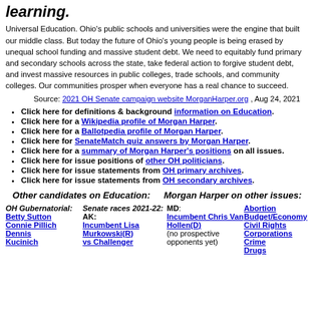learning.
Universal Education. Ohio's public schools and universities were the engine that built our middle class. But today the future of Ohio's young people is being erased by unequal school funding and massive student debt. We need to equitably fund primary and secondary schools across the state, take federal action to forgive student debt, and invest massive resources in public colleges, trade schools, and community colleges. Our communities prosper when everyone has a real chance to succeed.
Source: 2021 OH Senate campaign website MorganHarper.org , Aug 24, 2021
Click here for definitions & background information on Education.
Click here for a Wikipedia profile of Morgan Harper.
Click here for a Ballotpedia profile of Morgan Harper.
Click here for SenateMatch quiz answers by Morgan Harper.
Click here for a summary of Morgan Harper's positions on all issues.
Click here for issue positions of other OH politicians.
Click here for issue statements from OH primary archives.
Click here for issue statements from OH secondary archives.
Other candidates on Education:
Morgan Harper on other issues:
OH Gubernatorial: Betty Sutton, Connie Pillich, Dennis Kucinich
Senate races 2021-22: AK: Incumbent Lisa Murkowski(R) vs Challenger
MD: Incumbent Chris Van Hollen(D) (no prospective opponents yet)
Abortion, Budget/Economy, Civil Rights, Corporations, Crime, Drugs